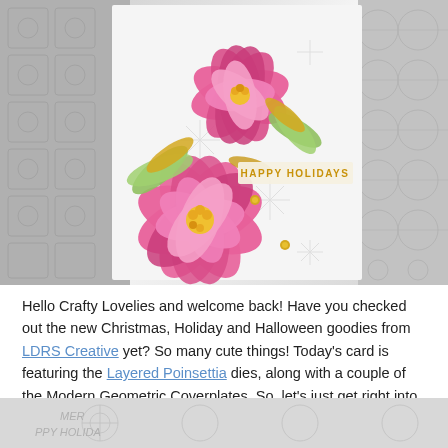[Figure (photo): Close-up photo of a handmade greeting card featuring layered pink poinsettia die-cut flowers with green and gold foil leaves, set against a white embossed snowflake coverplate background. Gold brad embellishments and a gold 'HAPPY HOLIDAYS' sentiment banner visible. Gray geometric die-cut coverplates visible on left and right sides of the card.]
Hello Crafty Lovelies and welcome back! Have you checked out the new Christmas, Holiday and Halloween goodies from LDRS Creative yet? So many cute things! Today's card is featuring the Layered Poinsettia dies, along with a couple of the Modern Geometric Coverplates. So, let's just get right into the details, shall we?
[Figure (photo): Partially visible bottom photo showing what appears to be a gray embossed or die-cut coverplate with floral/holiday designs and partial text reading 'MERRY' and 'PPY HOLIDA']